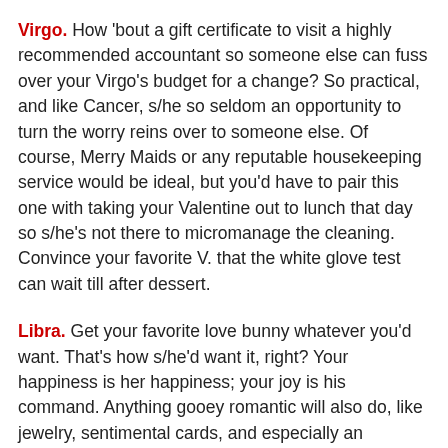Virgo. How 'bout a gift certificate to visit a highly recommended accountant so someone else can fuss over your Virgo's budget for a change? So practical, and like Cancer, s/he so seldom an opportunity to turn the worry reins over to someone else. Of course, Merry Maids or any reputable housekeeping service would be ideal, but you'd have to pair this one with taking your Valentine out to lunch that day so s/he's not there to micromanage the cleaning. Convince your favorite V. that the white glove test can wait till after dessert.
Libra. Get your favorite love bunny whatever you'd want. That's how s/he'd want it, right? Your happiness is her happiness; your joy is his command. Anything gooey romantic will also do, like jewelry, sentimental cards, and especially an engagement ring, if you're so inclined. If not, any other kind of ring may suggest an incremental working towards the real thing and keep your Libra in a very loving mood. Keep hope alive. On the other hand, if your Scale Guy or Gal is too clingy already, recycle the Cancer suggestions of spa, friends' night out or a serene solo getaway. Convince